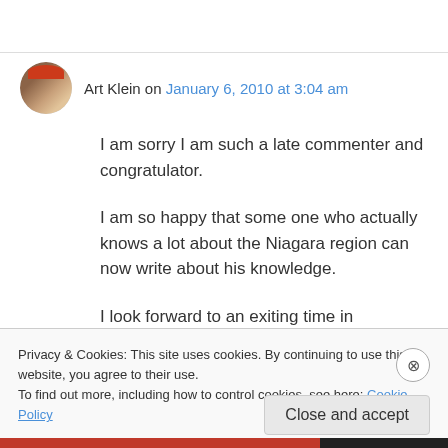Art Klein on January 6, 2010 at 3:04 am
I am sorry I am such a late commenter and congratulator.
I am so happy that some one who actually knows a lot about the Niagara region can now write about his knowledge.
I look forward to an exiting time in information.
Privacy & Cookies: This site uses cookies. By continuing to use this website, you agree to their use.
To find out more, including how to control cookies, see here: Cookie Policy